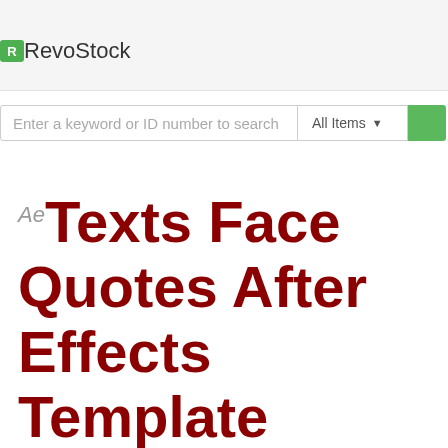RevoStock
Enter a keyword or ID number to search  All Items
Ae Texts Face Quotes After Effects Template Project